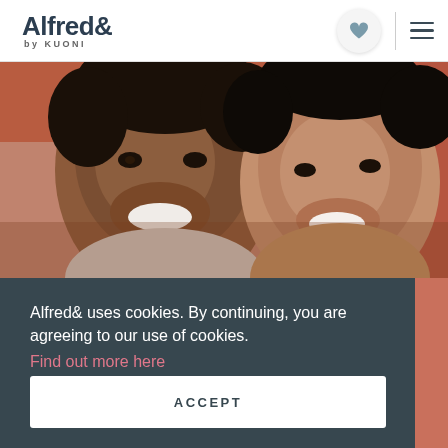Alfred& by KUONI
[Figure (photo): Two smiling young Asian men photographed close-up with a warm reddish background]
Alfred& uses cookies. By continuing, you are agreeing to our use of cookies. Find out more here
ACCEPT